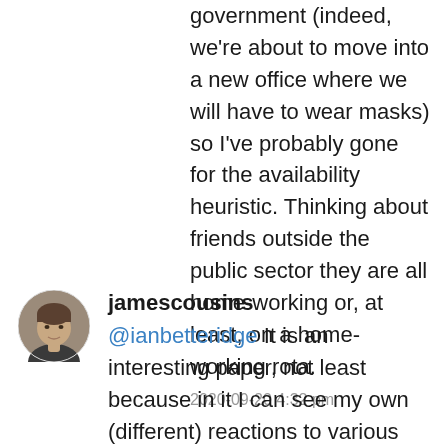government (indeed, we're about to move into a new office where we will have to wear masks) so I've probably gone for the availability heuristic. Thinking about friends outside the public sector they are all home-working or, at least, on a home-working rota.
2020-09-20 4:32 pm
[Figure (photo): Round avatar photo of jamescousins, a man with short hair]
jamescousins
@ianbetteridge It is an interesting paper, not least because in it I can see my own (different) reactions to various change projects I've experienced at different stages in my career.
2020-09-20 4:35 pm